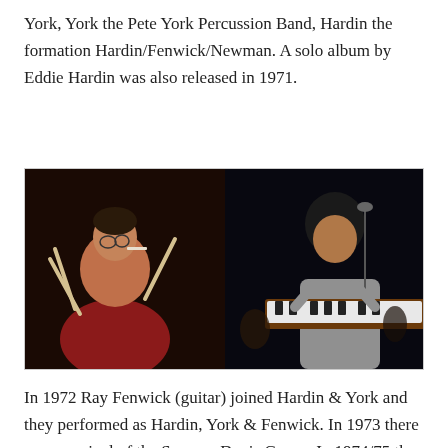York, York the Pete York Percussion Band, Hardin the formation Hardin/Fenwick/Newman. A solo album by Eddie Hardin was also released in 1971.
[Figure (photo): Two musicians performing: on the left, a man in a red shirt playing drums with drumsticks and a cigarette in his mouth; on the right, a person with curly hair playing a keyboard/organ on stage.]
In 1972 Ray Fenwick (guitar) joined Hardin & York and they performed as Hardin, York & Fenwick. In 1973 there was a revival of the Spencer Davis Group. In 1974/75 they played again as a trio together with Charlie McCracken (bass, ex key). After that, Hardin & York performed only occasionally at festivals under this name. In 1995 they released the album Still A Few Pages Left. From 2008 to 2012, Pete York played in Helge